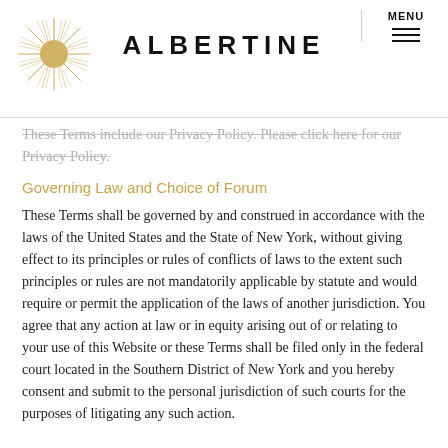ALBERTINE | MENU
These terms include our Privacy Policy. Please click here for our Privacy Policy.
Governing Law and Choice of Forum
These Terms shall be governed by and construed in accordance with the laws of the United States and the State of New York, without giving effect to its principles or rules of conflicts of laws to the extent such principles or rules are not mandatorily applicable by statute and would require or permit the application of the laws of another jurisdiction. You agree that any action at law or in equity arising out of or relating to your use of this Website or these Terms shall be filed only in the federal court located in the Southern District of New York and you hereby consent and submit to the personal jurisdiction of such courts for the purposes of litigating any such action.